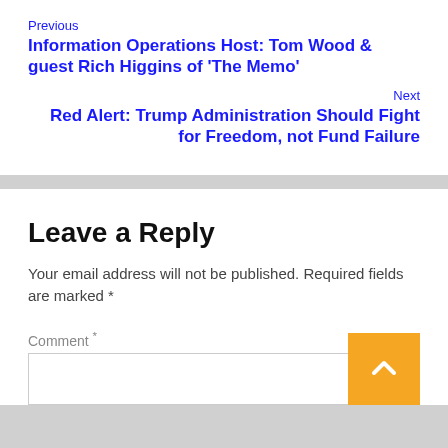Previous
Information Operations Host: Tom Wood & guest Rich Higgins of 'The Memo'
Next
Red Alert: Trump Administration Should Fight for Freedom, not Fund Failure
Leave a Reply
Your email address will not be published. Required fields are marked *
Comment *